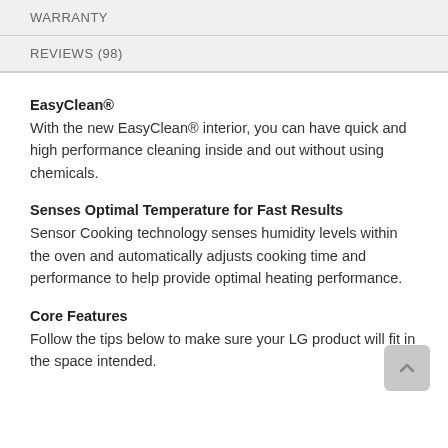WARRANTY
REVIEWS (98)
EasyClean®
With the new EasyClean® interior, you can have quick and high performance cleaning inside and out without using chemicals.
Senses Optimal Temperature for Fast Results
Sensor Cooking technology senses humidity levels within the oven and automatically adjusts cooking time and performance to help provide optimal heating performance.
Core Features
Follow the tips below to make sure your LG product will fit in the space intended.